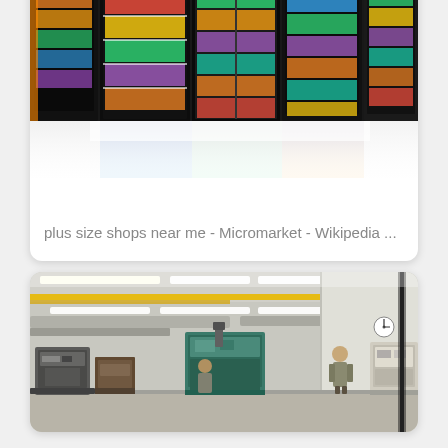[Figure (photo): Photo of a micromarket with illuminated refrigerator/freezer cases stocked with colorful beverages and snacks, with reflection on floor below]
plus size shops near me - Micromarket - Wikipedia ...
[Figure (photo): Photo of a machine shop or manufacturing facility with CNC machines, milling equipment, fluorescent lighting, and a worker at a workstation]